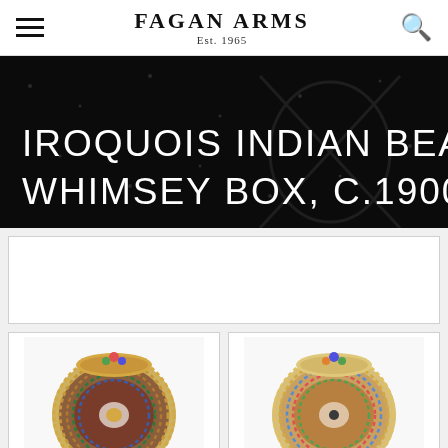Fagan Arms Est. 1965
IROQUOIS INDIAN BEADED WHIMSEY BOX, C.1900-10
[Figure (photo): Two Iroquois Indian beaded whimsey boxes shown side by side, circular decorative items with colorful beadwork in red, blue, green, and gold patterns on tan/brown backgrounds]
[Figure (screenshot): Fagan Arms website screenshot showing header with hamburger menu, brand logo, search icon, hero banner with title, and product images]